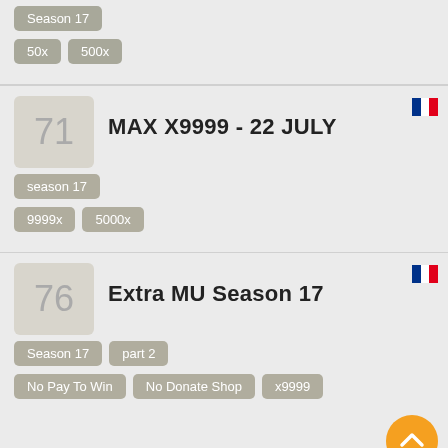Season 17, 50x, 500x
71 - MAX X9999 - 22 JULY, season 17, 9999x, 5000x
76 - Extra MU Season 17, Season 17, part 2, No Pay To Win, No Donate Shop, x9999